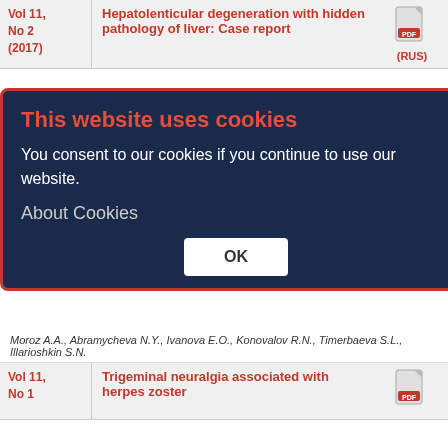| Volume | Title | PDF |
| --- | --- | --- |
| Vol 11, No 2 (2017) | Hepatolenticular degeneration with hidden pathology of liver: Case report | (RUS) |
Vyalova N.V., Odioka D.S., Proskokova T.N., Khaolinsky A.M.
| Volume | Title | PDF |
| --- | --- | --- |
| Vol 10, No 2 | Agenesis of the corpus callosum associated with heterotopia syndrome |  |
Milovanona O.A., Tarakanova T.Y., Pronicheva Y.B., Katasonova L.P., Biche-Ool S.K., Vorozhbleva T.E.
| Volume | Title | PDF |
| --- | --- | --- |
| Vol 11, No 1 (2017) | Eight clinical cases of cerebral autosomal dominant arteriopathy with subcortical infarcts and leukoencephalopathy (CADASIL) | (RUS) |
This website uses cookies
You consent to our cookies if you continue to use our website.
About Cookies
OK
Moroz A.A., Abramycheva N.Y., Ivanova E.O., Konovalov R.N., Timerbaeva S.L., Illarioshkin S.N.
| Volume | Title | PDF |
| --- | --- | --- |
| Vol 11, No 1 | Trigeminal neuralgia associated with herpes zoster |  |